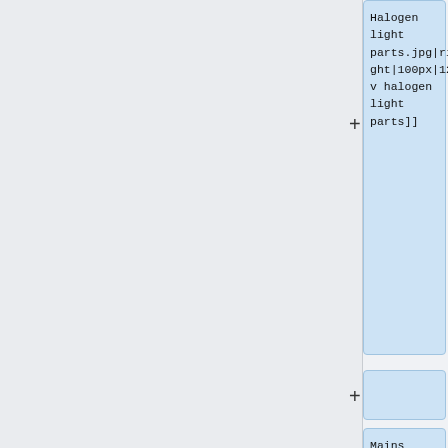Halogen light parts.jpg|right|100px|12v halogen light parts]]
Mains halogen lamps are designed to run directly from a 240V mains supply like most normal lamps. Low voltage ones are mostly